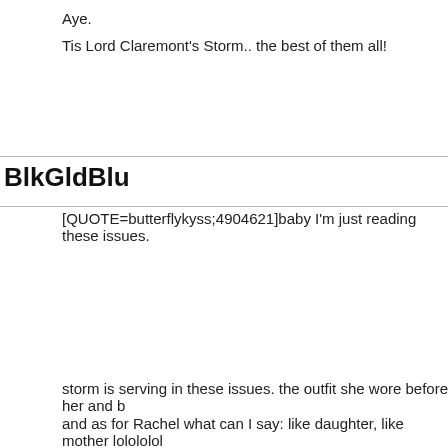Aye.
Tis Lord Claremont's Storm.. the best of them all!
BlkGldBlu
[QUOTE=butterflykyss;4904621]baby I'm just reading these issues.
storm is serving in these issues. the outfit she wore before her and b
and as for Rachel what can I say: like daughter, like mother lolololol
of course boo.
[img]https://2.bp.blogspot.com/k-d0qyMOygHOdHwuPu42n9RZsAl6SrN8Tt6AK47YyqOSHi4RgP8HEJEl2uHqLandFeaL=s1600[/img]